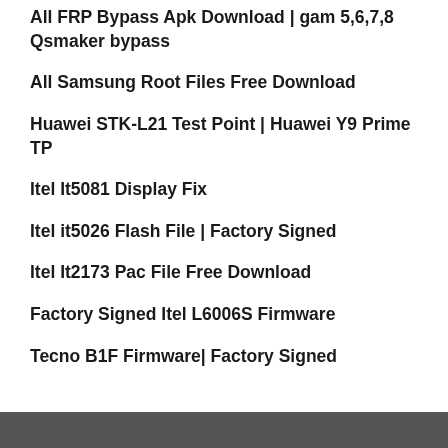All FRP Bypass Apk Download | gam 5,6,7,8 Qsmaker bypass
All Samsung Root Files Free Download
Huawei STK-L21 Test Point | Huawei Y9 Prime TP
Itel It5081 Display Fix
Itel it5026 Flash File | Factory Signed
Itel It2173 Pac File Free Download
Factory Signed Itel L6006S Firmware
Tecno B1F Firmware| Factory Signed